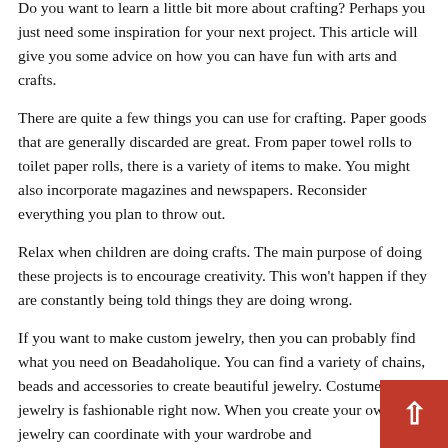Do you want to learn a little bit more about crafting? Perhaps you just need some inspiration for your next project. This article will give you some advice on how you can have fun with arts and crafts.
There are quite a few things you can use for crafting. Paper goods that are generally discarded are great. From paper towel rolls to toilet paper rolls, there is a variety of items to make. You might also incorporate magazines and newspapers. Reconsider everything you plan to throw out.
Relax when children are doing crafts. The main purpose of doing these projects is to encourage creativity. This won't happen if they are constantly being told things they are doing wrong.
If you want to make custom jewelry, then you can probably find what you need on Beadaholique. You can find a variety of chains, beads and accessories to create beautiful jewelry. Costume jewelry is fashionable right now. When you create your own, your jewelry can coordinate with your wardrobe and
[Figure (other): Red scroll-to-top button with white upward arrow, positioned at bottom-right corner of the page]